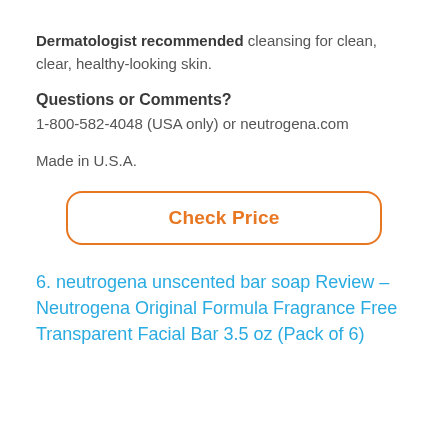Dermatologist recommended cleansing for clean, clear, healthy-looking skin.
Questions or Comments?
1-800-582-4048 (USA only) or neutrogena.com
Made in U.S.A.
[Figure (other): Orange outlined rounded rectangle button with text 'Check Price']
6. neutrogena unscented bar soap Review – Neutrogena Original Formula Fragrance Free Transparent Facial Bar 3.5 oz (Pack of 6)